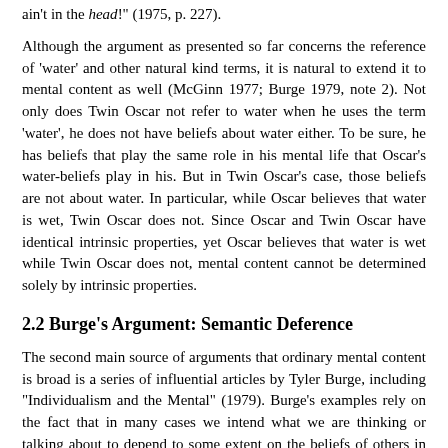ain't in the head!" (1975, p. 227).
Although the argument as presented so far concerns the reference of 'water' and other natural kind terms, it is natural to extend it to mental content as well (McGinn 1977; Burge 1979, note 2). Not only does Twin Oscar not refer to water when he uses the term 'water', he does not have beliefs about water either. To be sure, he has beliefs that play the same role in his mental life that Oscar's water-beliefs play in his. But in Twin Oscar's case, those beliefs are not about water. In particular, while Oscar believes that water is wet, Twin Oscar does not. Since Oscar and Twin Oscar have identical intrinsic properties, yet Oscar believes that water is wet while Twin Oscar does not, mental content cannot be determined solely by intrinsic properties.
2.2 Burge's Argument: Semantic Deference
The second main source of arguments that ordinary mental content is broad is a series of influential articles by Tyler Burge, including "Individualism and the Mental" (1979). Burge's examples rely on the fact that in many cases we intend what we are thinking or talking about to depend to some extent on the beliefs of others in our community, especially those more expert than we.
Burge's most famous example involves the concept of arthritis. He